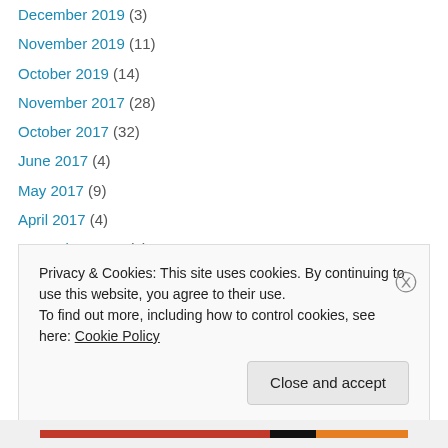December 2019 (3)
November 2019 (11)
October 2019 (14)
November 2017 (28)
October 2017 (32)
June 2017 (4)
May 2017 (9)
April 2017 (4)
December 2016 (4)
November 2016 (16)
October 2016 (28)
November 2015 (53)
October 2015 (34)
July 2015 (1)
Privacy & Cookies: This site uses cookies. By continuing to use this website, you agree to their use.
To find out more, including how to control cookies, see here: Cookie Policy
Close and accept